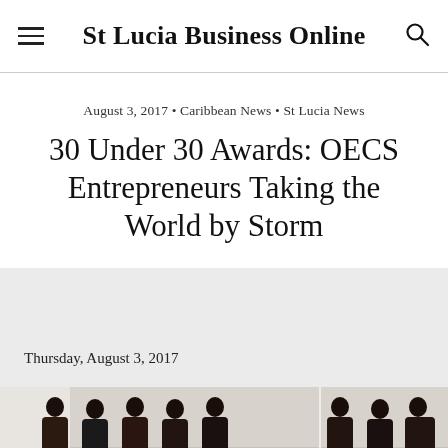St Lucia Business Online
August 3, 2017 • Caribbean News • St Lucia News
30 Under 30 Awards: OECS Entrepreneurs Taking the World by Storm
Thursday, August 3, 2017
[Figure (photo): Group photo of OECS entrepreneurs, multiple people standing together in what appears to be an indoor setting]